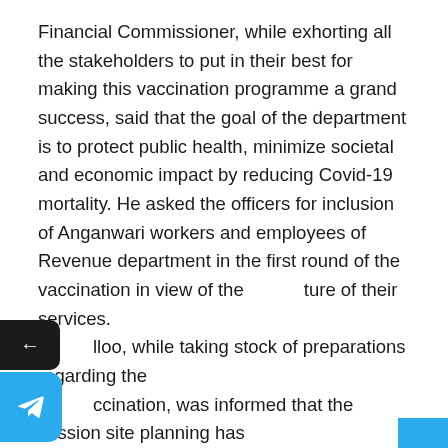Financial Commissioner, while exhorting all the stakeholders to put in their best for making this vaccination programme a grand success, said that the goal of the department is to protect public health, minimize societal and economic impact by reducing Covid-19 mortality. He asked the officers for inclusion of Anganwari workers and employees of Revenue department in the first round of the vaccination in view of the nature of their services. [Khalloo], while taking stock of preparations regarding the [va]ccination, was informed that the session site planning has been envisaged keeping in view the socio-economic, demographic and climatic considerations of the UT. Besides, great care is being taken to minimize chances of any adverse impact following the immunization. Regarding Ayushman Bharat PM-JAY SEHAT scheme, Financial Commissioner had a detailed assessment of district wise registrations and BIS status report till December this year